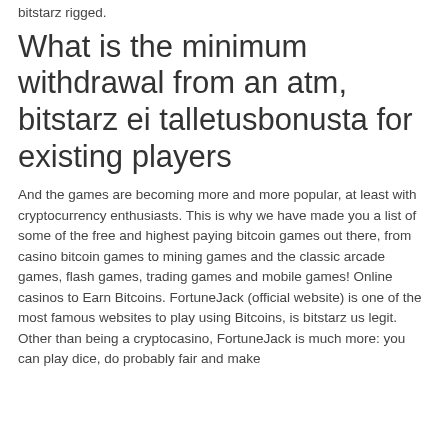bitstarz rigged.
What is the minimum withdrawal from an atm, bitstarz ei talletusbonusta for existing players
And the games are becoming more and more popular, at least with cryptocurrency enthusiasts. This is why we have made you a list of some of the free and highest paying bitcoin games out there, from casino bitcoin games to mining games and the classic arcade games, flash games, trading games and mobile games! Online casinos to Earn Bitcoins. FortuneJack (official website) is one of the most famous websites to play using Bitcoins, is bitstarz us legit. Other than being a cryptocasino, FortuneJack is much more: you can play dice, do probably fair and make